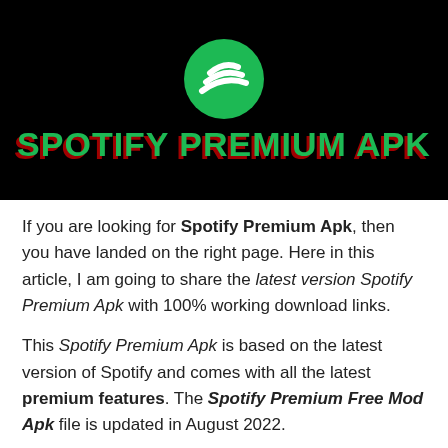[Figure (logo): Spotify logo (green circle with three black sound waves) and stylized text 'SPOTIFY PREMIUM APK' in green with red shadow on black background]
If you are looking for Spotify Premium Apk, then you have landed on the right page. Here in this article, I am going to share the latest version Spotify Premium Apk with 100% working download links.
This Spotify Premium Apk is based on the latest version of Spotify and comes with all the latest premium features. The Spotify Premium Free Mod Apk file is updated in August 2022.